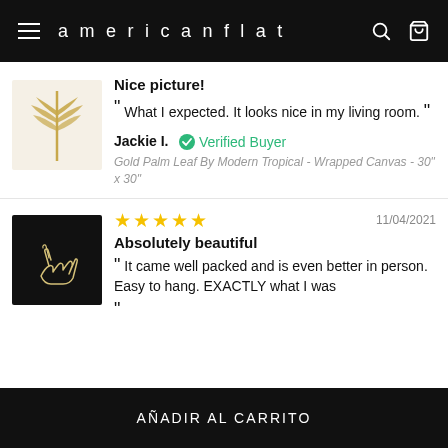americanflat
[Figure (screenshot): Product thumbnail: Gold palm leaf canvas art on white background]
Nice picture!
What I expected. It looks nice in my living room.
Jackie I. Verified Buyer
Gold Palm Leaf By Modern Tropical - Wrapped Canvas - 30" x 30"
[Figure (screenshot): Product thumbnail: Dark canvas art showing two hands pinky linking on black background]
11/04/2021
Absolutely beautiful
It came well packed and is even better in person. Easy to hang. EXACTLY what I was
AÑADIR AL CARRITO